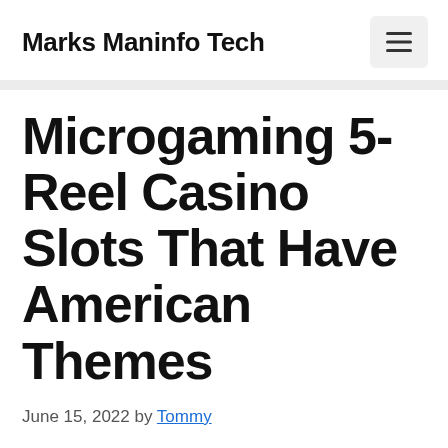Marks Maninfo Tech
Microgaming 5-Reel Casino Slots That Have American Themes
June 15, 2022 by Tommy
Gambling affects your own negatively. If